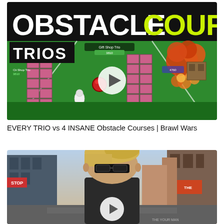[Figure (screenshot): Video thumbnail for a Brawl Wars game video titled OBSTACLE COURSE TRIOS, showing a top-down view of a colorful obstacle course game with pink blocks, characters, and an explosion effect. Has a white play button in the center.]
EVERY TRIO vs 4 INSANE Obstacle Courses | Brawl Wars
[Figure (screenshot): Video thumbnail showing a person with blonde hair and sunglasses on a city street, with buildings in the background. Has a white play button at the bottom center.]